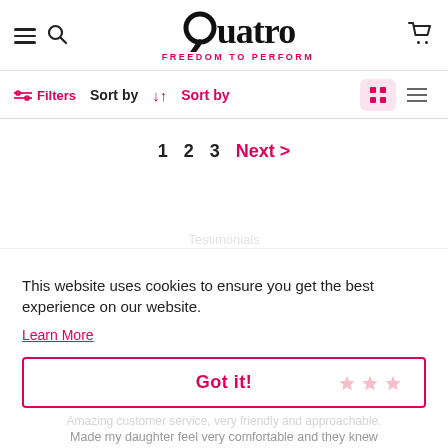Quatro - FREEDOM TO PERFORM
Filters  Sort by ↓↑ Sort by
1  2  3  Next >
This website uses cookies to ensure you get the best experience on our website.
Learn More
Got it!
Amazing customer service, very friendly and approachable. Made my daughter feel very comfortable and they knew